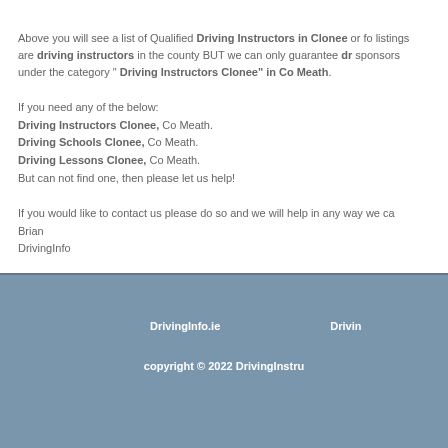Above you will see a list of Qualified Driving Instructors in Clonee or fo listings are driving instructors in the county BUT we can only guarantee dr sponsors under the category " Driving Instructors Clonee" in Co Meath.
If you need any of the below:
Driving Instructors Clonee, Co Meath.
Driving Schools Clonee, Co Meath.
Driving Lessons Clonee, Co Meath.
But can not find one, then please let us help!
If you would like to contact us please do so and we will help in any way we ca
Brian
DrivingInfo
DrivingInfo.ie    Drivin    copyright © 2022 DrivingInstru